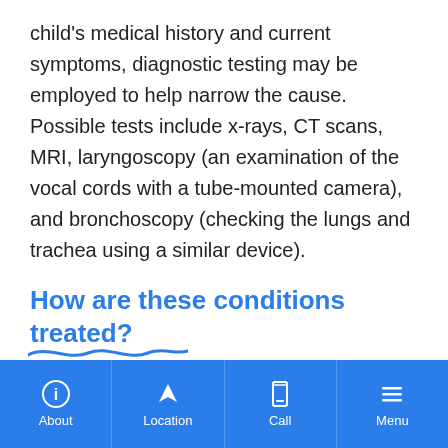child's medical history and current symptoms, diagnostic testing may be employed to help narrow the cause. Possible tests include x-rays, CT scans, MRI, laryngoscopy (an examination of the vocal cords with a tube-mounted camera), and bronchoscopy (checking the lungs and trachea using a similar device).
How are these conditions treated?
About | Location | Call | Menu